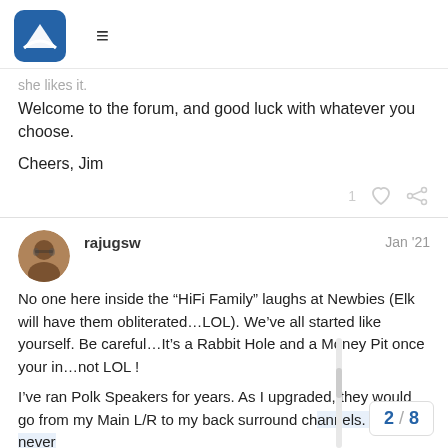Forum header with logo and hamburger menu
she likes it.
Welcome to the forum, and good luck with whatever you choose.
Cheers, Jim
rajugsw  Jan '21
No one here inside the “HiFi Family” laughs at Newbies (Elk will have them obliterated…LOL). We’ve all started like yourself. Be careful…It’s a Rabbit Hole and a Money Pit once your in…not LOL !
I’ve ran Polk Speakers for years. As I upgraded, they would go from my Main L/R to my back surround channels. You can never have enough Speakers ! 🙂
2 / 8